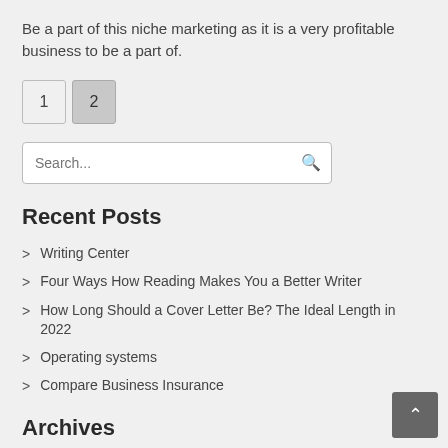Be a part of this niche marketing as it is a very profitable business to be a part of.
1  2
Search...
Recent Posts
Writing Center
Four Ways How Reading Makes You a Better Writer
How Long Should a Cover Letter Be? The Ideal Length in 2022
Operating systems
Compare Business Insurance
Archives
July 2022